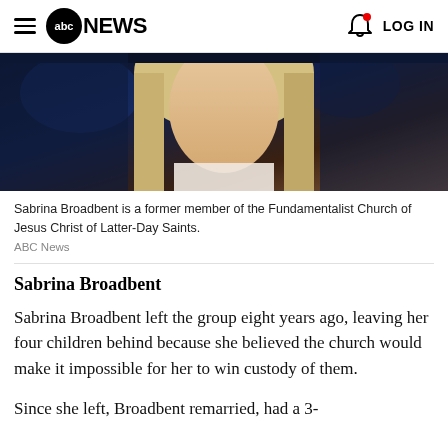abc NEWS  LOG IN
[Figure (photo): Close-up photo of a blonde woman, partially cropped, against a dark background with blue lighting]
Sabrina Broadbent is a former member of the Fundamentalist Church of Jesus Christ of Latter-Day Saints.
ABC News
Sabrina Broadbent
Sabrina Broadbent left the group eight years ago, leaving her four children behind because she believed the church would make it impossible for her to win custody of them.
Since she left, Broadbent remarried, had a 3-